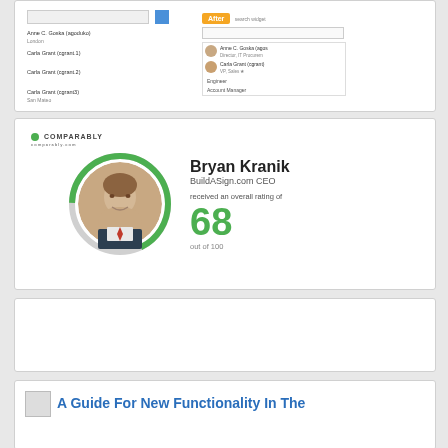[Figure (screenshot): Before/After screenshot showing a LinkedIn-style search widget. Before column shows a search bar with results listing Anne C. Goska (agoduko) - London, Carla Grant (cgrant.1), Carla Grant (cgrant.2), Carla Grant (cgrant3) - San Mateo. After column shows improved search results with profile photos, Anne C. Goska - Director IT Procurement, Carla Grant (cgrant) VP Sales, Engineer, Account Manager.]
[Figure (infographic): Comparably CEO rating card. Shows Bryan Kranik, BuildASign.com CEO, received an overall rating of 68 out of 100. Features circular profile photo with green arc border indicating rating, and Comparably branding logo.]
[Figure (screenshot): Blank white card section.]
[Figure (screenshot): Article preview card with broken image icon and title: A Guide For New Functionality In The]